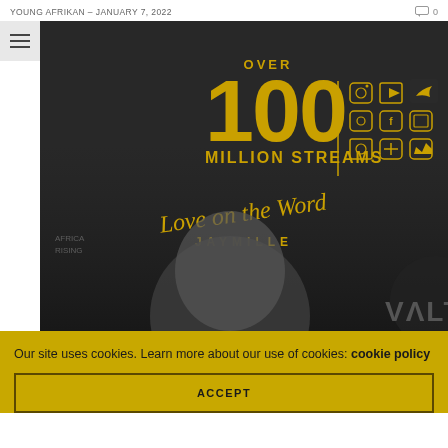YOUNG AFRIKAN – JANUARY 7, 2022    💬 0
[Figure (photo): Promotional image for Jaymille's music release 'Love on the Word' with text 'OVER 100 MILLION STREAMS' in gold and black, social media icons visible, artist shown in black and white below text]
Our site uses cookies. Learn more about our use of cookies: cookie policy
ACCEPT